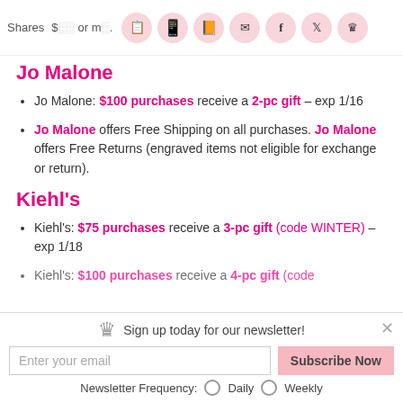Shares $... or m... [social share icons]
Jo Malone
Jo Malone: $100 purchases receive a 2-pc gift – exp 1/16
Jo Malone offers Free Shipping on all purchases. Jo Malone offers Free Returns (engraved items not eligible for exchange or return).
Kiehl's
Kiehl's: $75 purchases receive a 3-pc gift (code WINTER) – exp 1/18
Kiehl's: $100 purchases receive a 4-pc gift (code...
Sign up today for our newsletter! Enter your email | Subscribe Now | Newsletter Frequency: Daily Weekly